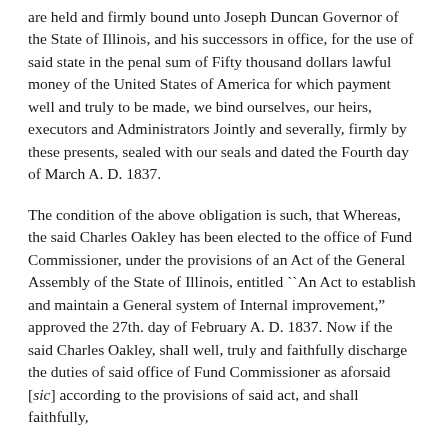are held and firmly bound unto Joseph Duncan Governor of the State of Illinois, and his successors in office, for the use of said state in the penal sum of Fifty thousand dollars lawful money of the United States of America for which payment well and truly to be made, we bind ourselves, our heirs, executors and Administrators Jointly and severally, firmly by these presents, sealed with our seals and dated the Fourth day of March A. D. 1837.
The condition of the above obligation is such, that Whereas, the said Charles Oakley has been elected to the office of Fund Commissioner, under the provisions of an Act of the General Assembly of the State of Illinois, entitled ``An Act to establish and maintain a General system of Internal improvement," approved the 27th. day of February A. D. 1837. Now if the said Charles Oakley, shall well, truly and faithfully discharge the duties of said office of Fund Commissioner as aforsaid [sic] according to the provisions of said act, and shall faithfully,